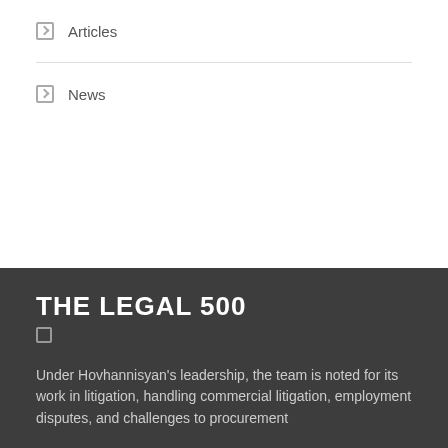Articles
News
THE LEGAL 500
Under Hovhannisyan's leadership, the team is noted for its work in litigation, handling commercial litigation, employment disputes, and challenges to procurement